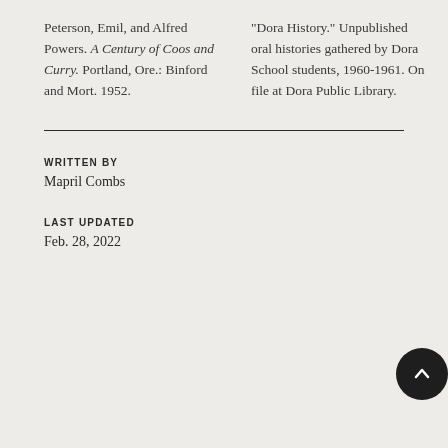Peterson, Emil, and Alfred Powers. A Century of Coos and Curry. Portland, Ore.: Binford and Mort. 1952.
"Dora History." Unpublished oral histories gathered by Dora School students, 1960-1961. On file at Dora Public Library.
WRITTEN BY
Mapril Combs
LAST UPDATED
Feb. 28, 2022